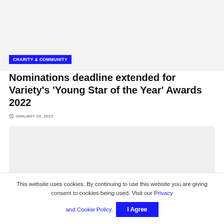[Figure (other): Gray placeholder image area at the top of the article page]
CHARITY & COMMUNITY
Nominations deadline extended for Variety's 'Young Star of the Year' Awards 2022
JANUARY 24, 2022
[Figure (other): Gray placeholder image area below the article title]
This website uses cookies. By continuing to use this website you are giving consent to cookies being used. Visit our Privacy and Cookie Policy.